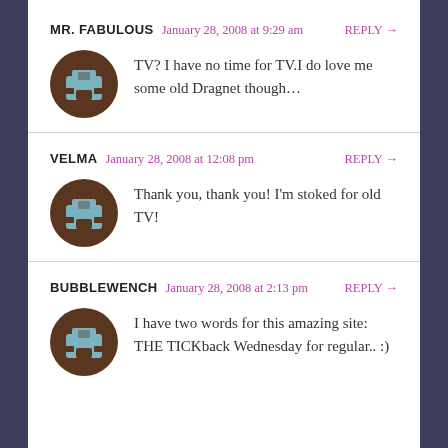MR. FABULOUS — January 28, 2008 at 9:29 am — REPLY → — TV? I have no time for TV.I do love me some old Dragnet though…
VELMA — January 28, 2008 at 12:08 pm — REPLY → — Thank you, thank you! I'm stoked for old TV!
BUBBLEWENCH — January 28, 2008 at 2:13 pm — REPLY → — I have two words for this amazing site: THE TICKback Wednesday for regular.. :)